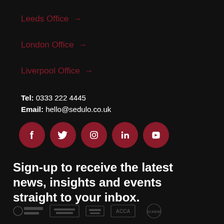Leeds Office →
London Office →
Liverpool Office →
Tel: 0333 222 4445
Email: hello@sedulo.co.uk
[Figure (infographic): Row of 5 dark red circular social media icons: Facebook, Twitter, Instagram, LinkedIn, YouTube]
Sign-up to receive the latest news, insights and events straight to your inbox.
[Figure (logo): Row of partner/accreditation logos at bottom of page, shown in dark grey]